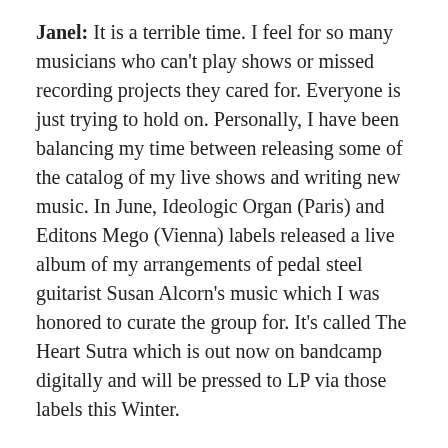Janel: It is a terrible time. I feel for so many musicians who can't play shows or missed recording projects they cared for. Everyone is just trying to hold on. Personally, I have been balancing my time between releasing some of the catalog of my live shows and writing new music. In June, Ideologic Organ (Paris) and Editons Mego (Vienna) labels released a live album of my arrangements of pedal steel guitarist Susan Alcorn's music which I was honored to curate the group for. It's called The Heart Sutra which is out now on bandcamp digitally and will be pressed to LP via those labels this Winter.
Another release I put out this Spring is again with long time friends pedal steel player Susan Alcorn and vocalist Meghan Habibzai on the Atlantic Rhythms label (DC). I